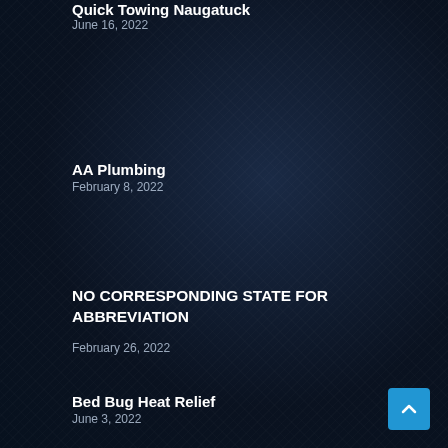Quick Towing Naugatuck
June 16, 2022
AA Plumbing
February 8, 2022
NO CORRESPONDING STATE FOR ABBREVIATION
February 26, 2022
Bed Bug Heat Relief
June 3, 2022
Midland Master Carpet Cleaners
March 31, 2022